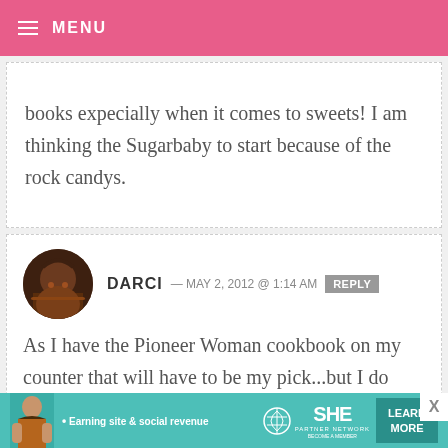MENU
books expecially when it comes to sweets! I am thinking the Sugarbaby to start because of the rock candys.
DARCI — MAY 2, 2012 @ 1:14 AM  REPLY
As I have the Pioneer Woman cookbook on my counter that will have to be my pick...but I do love Joy the Baker.
[Figure (infographic): SHE Partner Network advertisement banner — teal background, woman photo, text: Earning site & social revenue, SHE logo, PARTNER NETWORK, BECOME A MEMBER, LEARN MORE button]